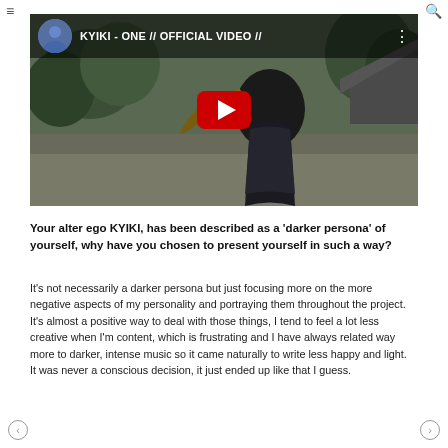[Figure (screenshot): YouTube video thumbnail showing a woman with long hair from behind in an outdoor scene, with YouTube play button overlay and video title 'KYIKI - ONE // OFFICIAL VIDEO //' and channel avatar]
Your alter ego KYIKI, has been described as a 'darker persona' of yourself, why have you chosen to present yourself in such a way?
It's not necessarily a darker persona but just focusing more on the more negative aspects of my personality and portraying them throughout the project. It's almost a positive way to deal with those things, I tend to feel a lot less creative when I'm content, which is frustrating and I have always related way more to darker, intense music so it came naturally to write less happy and light. It was never a conscious decision, it just ended up like that I guess.